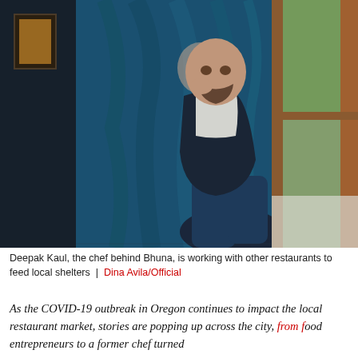[Figure (photo): A bald man with a beard wearing a dark apron over a white shirt sits relaxed with one hand raised near his chin, in front of a large blue mural artwork in a restaurant interior with a window on the right.]
Deepak Kaul, the chef behind Bhuna, is working with other restaurants to feed local shelters | Dina Avila/Official
As the COVID-19 outbreak in Oregon continues to impact the local restaurant market, stories are popping up across the city, from food entrepreneurs to a former chef turned